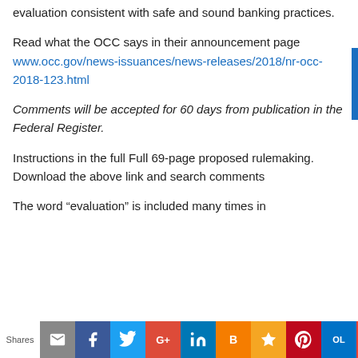evaluation consistent with safe and sound banking practices.
Read what the OCC says in their announcement page www.occ.gov/news-issuances/news-releases/2018/nr-occ-2018-123.html
Comments will be accepted for 60 days from publication in the Federal Register.
Instructions in the full Full 69-page proposed rulemaking. Download the above link and search comments
The word “evaluation” is included many times in
Shares [share buttons: email, facebook, twitter, google+, linkedin, blogger, bookmark, pinterest, outlook, gmail, reddit]